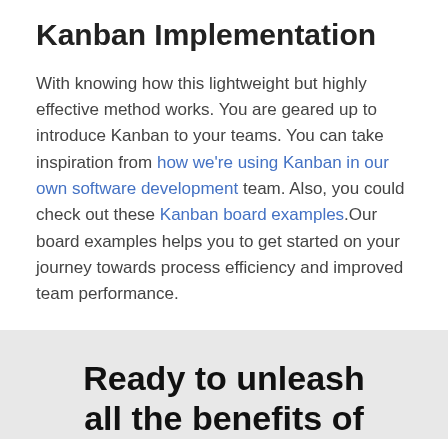Kanban Implementation
With knowing how this lightweight but highly effective method works. You are geared up to introduce Kanban to your teams. You can take inspiration from how we're using Kanban in our own software development team. Also, you could check out these Kanban board examples.Our board examples helps you to get started on your journey towards process efficiency and improved team performance.
Ready to unleash all the benefits of